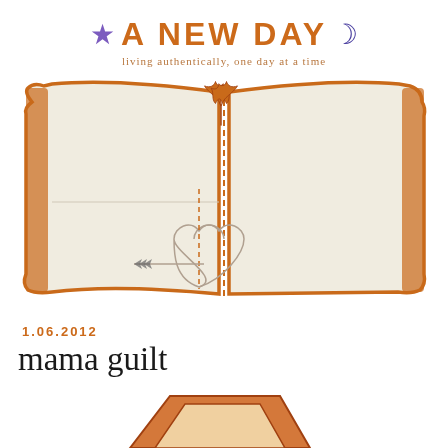★ A NEW DAY ☽ — living authentically, one day at a time
[Figure (illustration): Open book illustration with orange hand-drawn border, a maple leaf at the top center, a vertical center line, and a small heart with an arrow through it in the lower portion of the book.]
1.06.2012
mama guilt
[Figure (photo): Partial image of an orange/brown illustrated or photographed object at the bottom of the page, cropped.]